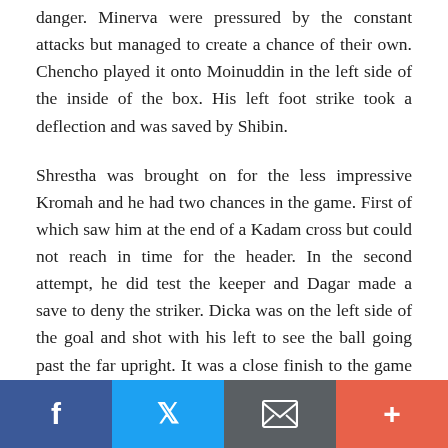danger. Minerva were pressured by the constant attacks but managed to create a chance of their own. Chencho played it onto Moinuddin in the left side of the inside of the box. His left foot strike took a deflection and was saved by Shibin.
Shrestha was brought on for the less impressive Kromah and he had two chances in the game. First of which saw him at the end of a Kadam cross but could not reach in time for the header. In the second attempt, he did test the keeper and Dagar made a save to deny the striker. Dicka was on the left side of the goal and shot with his left to see the ball going past the far upright. It was a close finish to the game when Kingsley took matters in his own hand and unleashed a 25 yard
Social share bar: Facebook, Twitter, Email, More